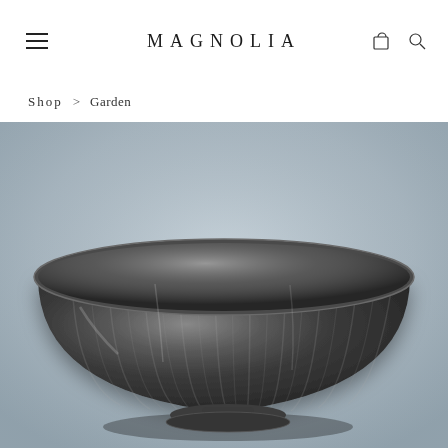MAGNOLIA
Shop > Garden
[Figure (photo): Close-up photo of a dark gunmetal/antique silver fluted bowl with vertical ridged texture, sitting on a small pedestal base, photographed against a soft blue-grey background.]